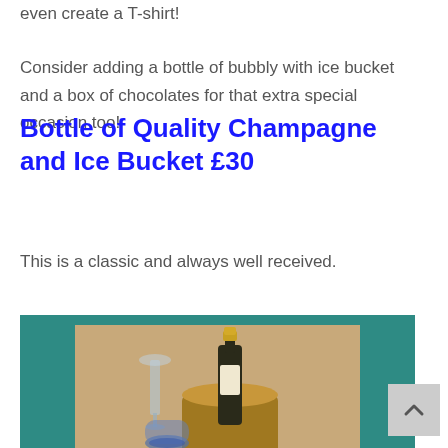even create a T-shirt!
Consider adding a bottle of bubbly with ice bucket and a box of chocolates for that extra special occasion too!
Bottle of Quality Champagne and Ice Bucket £30
This is a classic and always well received.
[Figure (photo): A bottle of quality Champagne in an ice bucket with two blue champagne flutes on a wooden surface, set against a teal background.]
A bottle of quality Champagne and ice bucket